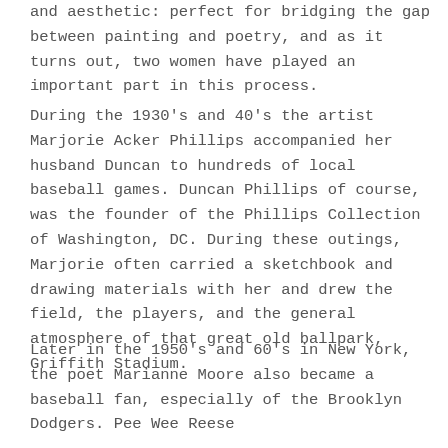and aesthetic: perfect for bridging the gap between painting and poetry, and as it turns out, two women have played an important part in this process.
During the 1930's and 40's the artist Marjorie Acker Phillips accompanied her husband Duncan to hundreds of local baseball games. Duncan Phillips of course, was the founder of the Phillips Collection of Washington, DC. During these outings, Marjorie often carried a sketchbook and drawing materials with her and drew the field, the players, and the general atmosphere of that great old ballpark, Griffith Stadium.
Later in the 1950's and 60's in New York, the poet Marianne Moore also became a baseball fan, especially of the Brooklyn Dodgers. Pee Wee Reese